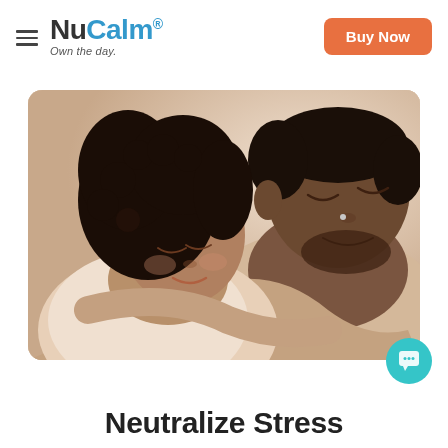NuCalm® Own the day.
Buy Now
[Figure (photo): A couple embracing peacefully with eyes closed, smiling, in a calm and relaxed pose against a light background.]
Neutralize Stress